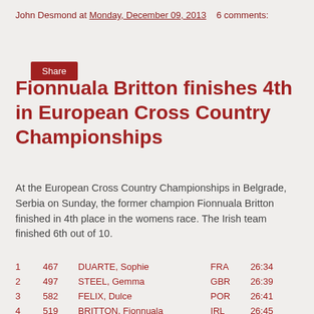John Desmond at Monday, December 09, 2013   6 comments:
Share
Fionnuala Britton finishes 4th in European Cross Country Championships
At the European Cross Country Championships in Belgrade, Serbia on Sunday, the former champion Fionnuala Britton finished in 4th place in the womens race. The Irish team finished 6th out of 10.
| Pos | Bib | Name | Country | Time |
| --- | --- | --- | --- | --- |
| 1 | 467 | DUARTE, Sophie | FRA | 26:34 |
| 2 | 497 | STEEL, Gemma | GBR | 26:39 |
| 3 | 582 | FELIX, Dulce | POR | 26:41 |
| 4 | 519 | BRITTON, Fionnuala | IRL | 26:45 |
| 5 | 564 | GRØVDAL, Karoline Bjerkeli | NOR | 26:52 |
| 31 | 532 | TREACY, Sara | IRL | 28:02 |
| 36 | 521 | DURKAN, Ciara | IRL | 28:10 |